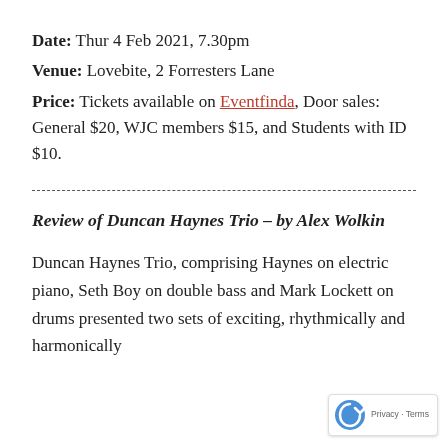Date: Thur 4 Feb 2021, 7.30pm
Venue: Lovebite, 2 Forresters Lane
Price: Tickets available on Eventfinda, Door sales: General $20, WJC members $15, and Students with ID $10.
Review of Duncan Haynes Trio – by Alex Wolkin
Duncan Haynes Trio, comprising Haynes on electric piano, Seth Boy on double bass and Mark Lockett on drums presented two sets of exciting, rhythmically and harmonically